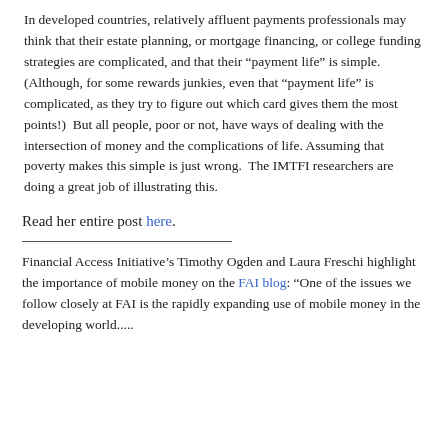In developed countries, relatively affluent payments professionals may think that their estate planning, or mortgage financing, or college funding strategies are complicated, and that their “payment life” is simple. (Although, for some rewards junkies, even that “payment life” is complicated, as they try to figure out which card gives them the most points!)  But all people, poor or not, have ways of dealing with the intersection of money and the complications of life. Assuming that poverty makes this simple is just wrong.  The IMTFI researchers are doing a great job of illustrating this.
Read her entire post here.
Financial Access Initiative’s Timothy Ogden and Laura Freschi highlight the importance of mobile money on the FAI blog: “One of the issues we follow closely at FAI is the rapidly expanding use of mobile money in the developing world.....